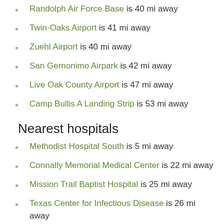Randolph Air Force Base is 40 mi away
Twin-Oaks Airport is 41 mi away
Zuehl Airport is 40 mi away
San Gernonimo Airpark is 42 mi away
Live Oak County Airport is 47 mi away
Camp Bullis A Landing Strip is 53 mi away
Nearest hospitals
Methodist Hospital South is 5 mi away
Connally Memorial Medical Center is 22 mi away
Mission Trail Baptist Hospital is 25 mi away
Texas Center for Infectious Disease is 26 mi away
San Antonio State Supported Living Center is 26 mi away
Southwest General Hospital is 26 mi away